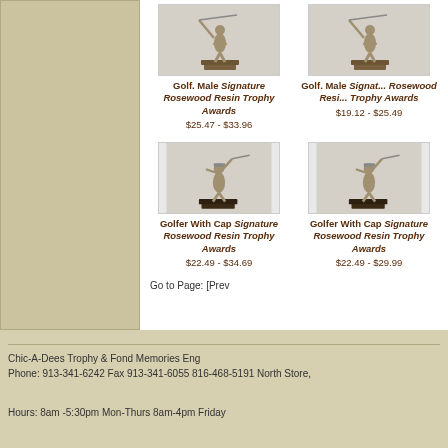[Figure (photo): Golf Male Signature Rosewood Resin Trophy Award figurine - male golfer on base]
Golf. Male Signature Rosewood Resin Trophy Awards
$25.47 - $33.96
[Figure (photo): Golf Male Signature Rosewood Resin Trophy Award figurine - partially visible]
Golf. Male Signat... Rosewood Resi... Trophy Awards
$19.12 - $25.49
[Figure (photo): Golfer With Cap Signature Rosewood Resin Trophy Award figurine - male golfer swinging]
Golfer With Cap Signature Rosewood Resin Trophy Awards
$22.49 - $34.69
[Figure (photo): Golfer With Cap Signature Rosewood Resin Trophy Award figurine - partially visible]
Golfer With Cap Signature Rosewood Resin Trophy Awards
$22.49 - $29.99
Go to Page: [Prev
Chic-A-Dees Trophy & Fond Memories Eng
Phone: 913-341-6242 Fax 913-341-6055 816-468-5191 North Store,
Hours: 8am -5:30pm Mon-Thurs 8am-4pm Friday